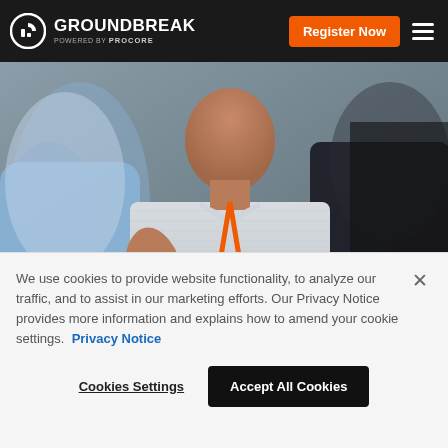GROUNDBREAK POWERED BY PROCORE | Register Now
[Figure (photo): People networking at a conference event. A man in a striped polo shirt wearing an orange Procore lanyard holds a coffee cup and shakes hands. Other attendees visible around him.]
We use cookies to provide website functionality, to analyze our traffic, and to assist in our marketing efforts. Our Privacy Notice provides more information and explains how to amend your cookie settings. Privacy Notice
Cookies Settings   Accept All Cookies